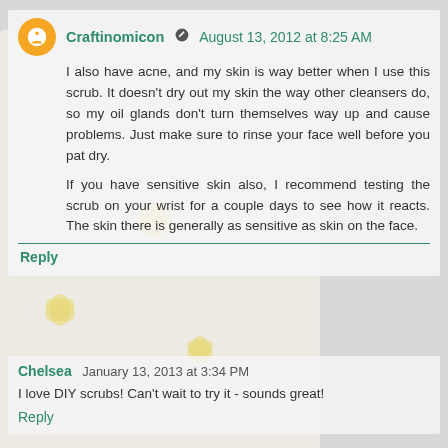Craftinomicon · August 13, 2012 at 8:25 AM
I also have acne, and my skin is way better when I use this scrub. It doesn't dry out my skin the way other cleansers do, so my oil glands don't turn themselves way up and cause problems. Just make sure to rinse your face well before you pat dry.
If you have sensitive skin also, I recommend testing the scrub on your wrist for a couple days to see how it reacts. The skin there is generally as sensitive as skin on the face.
Reply
Chelsea January 13, 2013 at 3:34 PM
I love DIY scrubs! Can't wait to try it - sounds great!
Reply